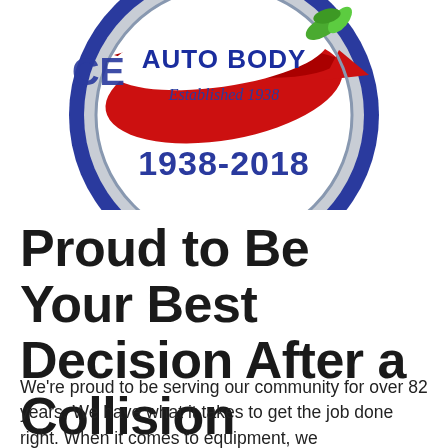[Figure (logo): Circular auto body shop logo with blue border, gray background circle, red swoosh arrow, green leaves, text 'AUTO BODY' in bold blue at top, 'Established 1938' in italic blue in center, and '1938-2018' in large bold blue text at bottom. Left side partially cut off showing 'CE' letters.]
Proud to Be Your Best Decision After a Collision
We're proud to be serving our community for over 82 years. We have what it takes to get the job done right. When it comes to equipment, we